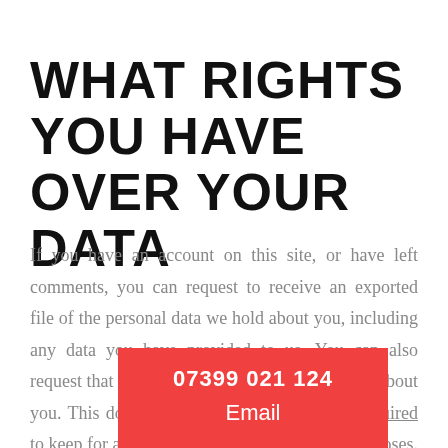WHAT RIGHTS YOU HAVE OVER YOUR DATA
If you have an account on this site, or have left comments, you can request to receive an exported file of the personal data we hold about you, including any data you have provided to us. You can also request that we erase any personal data we hold about you. This does not include any data we a[re required to keep for administrative, legal, or s[ecurity purposes.
07399 021 124
Email